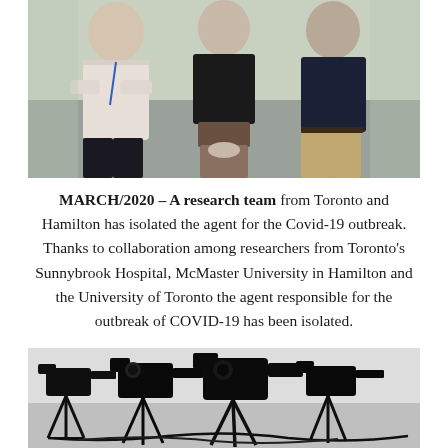[Figure (photo): Three researchers standing together — a man in a white shirt with arms crossed on the left, a woman in a black top in the center, and a man in a dark shirt on the right. Indoor setting.]
MARCH/2020 – A research team from Toronto and Hamilton has isolated the agent for the Covid-19 outbreak. Thanks to collaboration among researchers from Toronto's Sunnybrook Hospital, McMaster University in Hamilton and the University of Toronto the agent responsible for the outbreak of COVID-19 has been isolated.
[Figure (photo): Black and white photo of video camera equipment, tripods and cables in a room.]